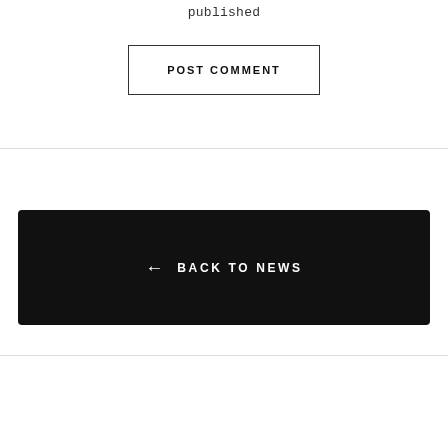published
POST COMMENT
← BACK TO NEWS